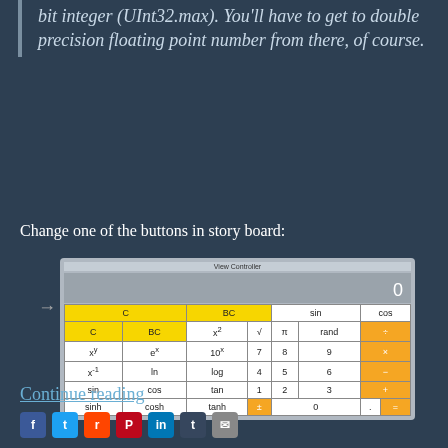between 0 and the largest positive 32-bit integer (UInt32.max). You'll have to get to double precision floating point number from there, of course.
Change one of the buttons in story board:
[Figure (screenshot): iOS calculator app storyboard view showing a calculator interface with buttons arranged in a grid. Yellow buttons for C and BC, orange buttons for operators (÷, ×, −, +, =), and white buttons for numbers and functions including sin, cos, x², √, π, rand, xʸ, eˣ, 10ˣ, x⁻¹, ln, log, tan, sinh, cosh, tanh.]
Continue reading